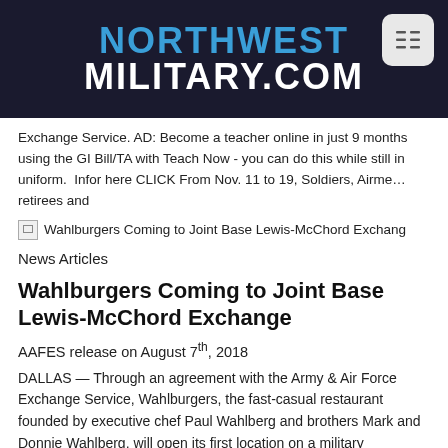NORTHWEST MILITARY.COM
Exchange Service. AD: Become a teacher online in just 9 months using the GI Bill/TA with Teach Now - you can do this while still in uniform.  Infor here CLICK From Nov. 11 to 19, Soldiers, Airmen, retirees and
[Figure (screenshot): Broken image placeholder with link text: Wahlburgers Coming to Joint Base Lewis-McChord Exchang...]
News Articles
Wahlburgers Coming to Joint Base Lewis-McChord Exchange
AAFES release on August 7th, 2018
DALLAS — Through an agreement with the Army & Air Force Exchange Service, Wahlburgers, the fast-casual restaurant founded by executive chef Paul Wahlberg and brothers Mark and Donnie Wahlberg, will open its first location on a military installation in